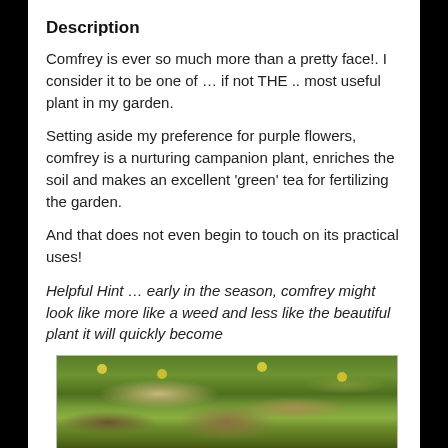Description
Comfrey is ever so much more than a pretty face!. I consider it to be one of … if not THE .. most useful plant in my garden.
Setting aside my preference for purple flowers, comfrey is a nurturing campanion plant, enriches the soil and makes an excellent 'green' tea for fertilizing the garden.
And that does not even begin to touch on its practical uses!
Helpful Hint … early in the season, comfrey might look like more like a weed and less like the beautiful plant it will quickly become
[Figure (photo): Photo of comfrey plants growing on the ground, showing green broad leaves with small yellow flowers scattered among them, on a brown earthy background.]